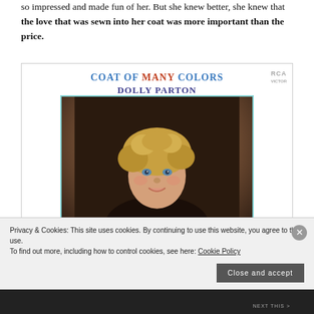so impressed and made fun of her. But she knew better, she knew that the love that was sewn into her coat was more important than the price.
[Figure (illustration): Album cover for 'Coat of Many Colors' by Dolly Parton on RCA Victor. White background with colorful title text at top, portrait of a young child with curly blonde hair inside a teal-bordered frame.]
Privacy & Cookies: This site uses cookies. By continuing to use this website, you agree to their use. To find out more, including how to control cookies, see here: Cookie Policy